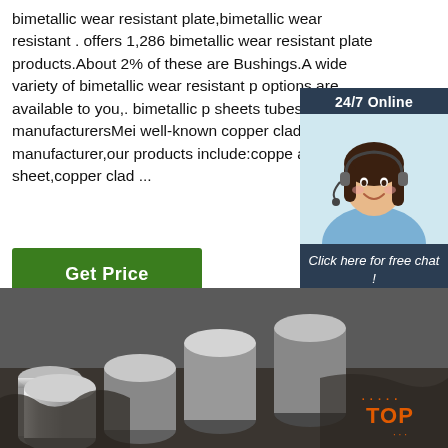bimetallic wear resistant plate,bimetallic wear resistant . offers 1,286 bimetallic wear resistant plate products.About 2% of these are Bushings.A wide variety of bimetallic wear resistant p options are available to you,. bimetallic p sheets tubes busbars manufacturersMei well-known copper clad aluminum manufacturer,our products include:coppe aluminum sheet,copper clad ...
Get Price
[Figure (other): Customer service widget showing a woman with a headset, dark hair, smiling. Header says '24/7 Online'. Footer says 'Click here for free chat!' with an orange QUOTATION button.]
[Figure (photo): Industrial photo of metallic round bars/rods, silvery in color, arranged together. Background shows scrap metal debris. An orange 'TOP' badge with dots appears in the lower right of the image.]